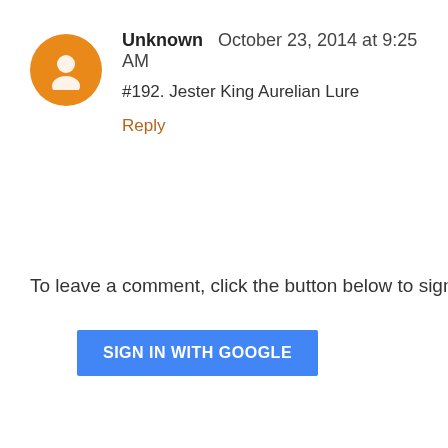Unknown  October 23, 2014 at 9:25 AM
#192. Jester King Aurelian Lure
Reply
To leave a comment, click the button below to sign in with
SIGN IN WITH GOOGLE
Newer Post
Home
Subscribe to: Post Comments (Atom)
Cop